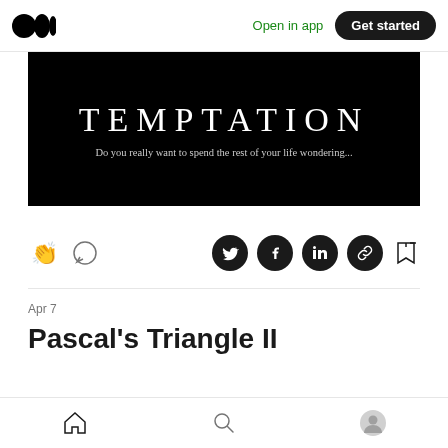Open in app | Get started
[Figure (photo): Black background image with large serif text 'TEMPTATION' and subtitle 'Do you really want to spend the rest of your life wondering...']
[Figure (infographic): Action bar with clap, comment icons on left; Twitter, Facebook, LinkedIn, link share icons and bookmark icon on right]
Apr 7
Pascal's Triangle II
Home | Search | Profile